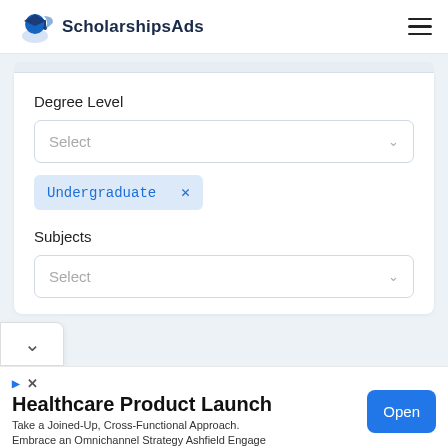ScholarshipsAds
Degree Level
Select
Undergraduate ×
Subjects
Select
Healthcare Product Launch
Take a Joined-Up, Cross-Functional Approach. Embrace an Omnichannel Strategy Ashfield Engage